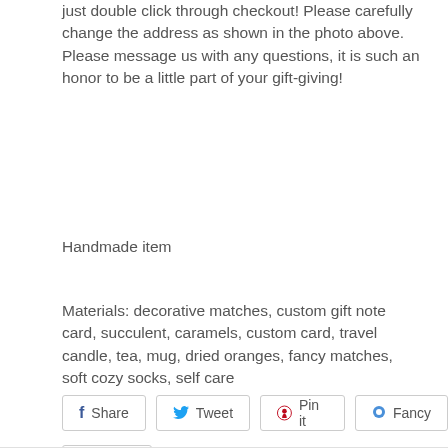just double click through checkout! Please carefully change the address as shown in the photo above. Please message us with any questions, it is such an honor to be a little part of your gift-giving!
Handmade item
Materials: decorative matches, custom gift note card, succulent, caramels, custom card, travel candle, tea, mug, dried oranges, fancy matches, soft cozy socks, self care
Share  Tweet  Pin it  Fancy
g+ +1